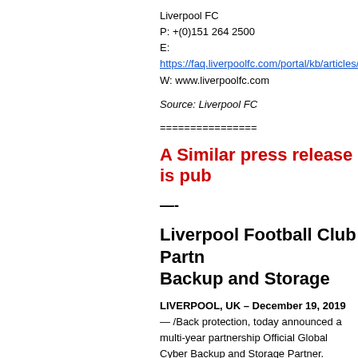Liverpool FC
P: +(0)151 264 2500
E: https://faq.liverpoolfc.com/portal/kb/articles/conta
W: www.liverpoolfc.com
Source: Liverpool FC
================
A Similar press release is pub
—-
Liverpool Football Club Partn Backup and Storage
LIVERPOOL, UK – December 19, 2019 — /Back protection, today announced a multi-year partnership Official Global Cyber Backup and Storage Partner.
The partnership will see Acronis providing Liverpool solutions for data, applications, and systems. Acronis the five vectors of cyber protection– safety, accessib efficiently manage its workloads.
The announcement was made at the Acronis #Cyberi on 19 December, 2019. Speaking at the event was Li Transformation Enrico Tizzano and Acronis Founde highlight appearance was Ian Rush a Liverpool FC